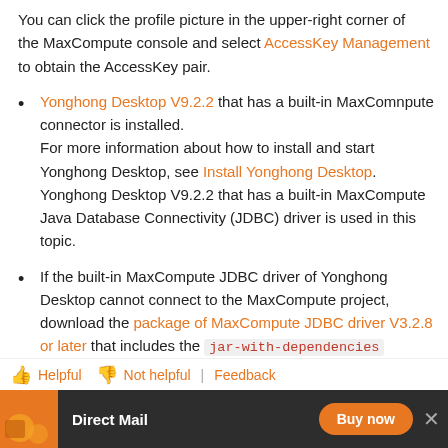You can click the profile picture in the upper-right corner of the MaxCompute console and select AccessKey Management to obtain the AccessKey pair.
Yonghong Desktop V9.2.2 that has a built-in MaxComnpute connector is installed. For more information about how to install and start Yonghong Desktop, see Install Yonghong Desktop. Yonghong Desktop V9.2.2 that has a built-in MaxCompute Java Database Connectivity (JDBC) driver is used in this topic.
If the built-in MaxCompute JDBC driver of Yonghong Desktop cannot connect to the MaxCompute project, download the package of MaxCompute JDBC driver V3.2.8 or later that includes the jar-with-dependencies package. MaxCompute JDBC driver V3.2.9 is used in this topic.
Step 1: Connect Yonghong BI to the MaxCompute p
Helpful  Not helpful  Feedback
[Figure (other): Advertisement banner: Direct Mail with Buy now button]